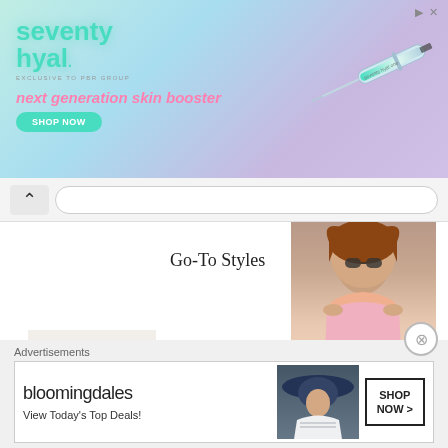[Figure (photo): Seventy Hyal advertisement banner - next generation skin booster with syringe image on gradient purple-teal background, showing 'SHOP NOW' button]
[Figure (screenshot): Browser navigation bar with back arrow button and URL bar]
Go-To Styles
[Figure (photo): Fashion photo of woman in pink top with curly hair and sunglasses]
NEXT POST
[Figure (photo): Hand holding a cup of coffee on white bed sheets]
6 Tips For Helping To Care For a Sick Family Member
Advertisements
[Figure (photo): Bloomingdale's advertisement - View Today's Top Deals with model in wide brim blue hat, SHOP NOW button]